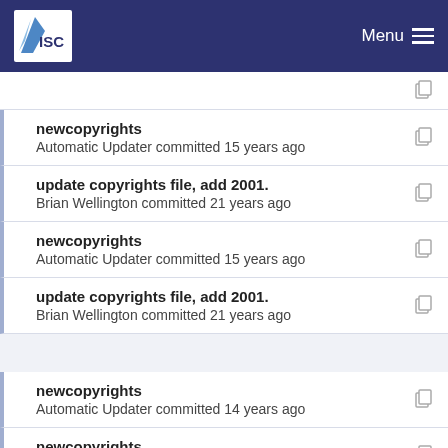ISC | Menu
newcopyrights
Automatic Updater committed 15 years ago
update copyrights file, add 2001.
Brian Wellington committed 21 years ago
newcopyrights
Automatic Updater committed 15 years ago
update copyrights file, add 2001.
Brian Wellington committed 21 years ago
newcopyrights
Automatic Updater committed 14 years ago
newcopyrights
Automatic Updater committed 15 years ago